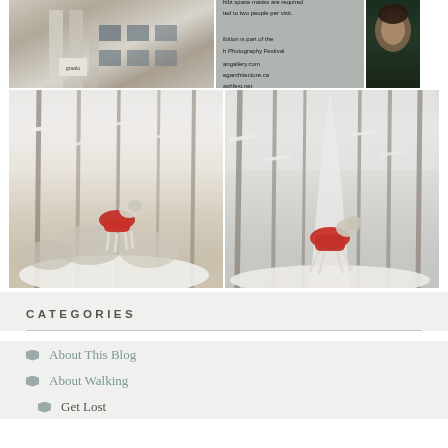[Figure (photo): Top row of three photos: left shows a building exterior (stone/brick architecture), center shows a gray information panel with text about exhibit space and photography festival with website URLs, right shows a partial portrait photo with dark green background.]
[Figure (photo): Two large photos side by side of a greyhound dog wearing a red coat in a snowy winter forest scene. Left photo shows the dog among snow-covered shrubs and trees. Right photo shows the dog on a snow-covered path through bare winter trees.]
CATEGORIES
About This Blog
About Walking
Get Lost